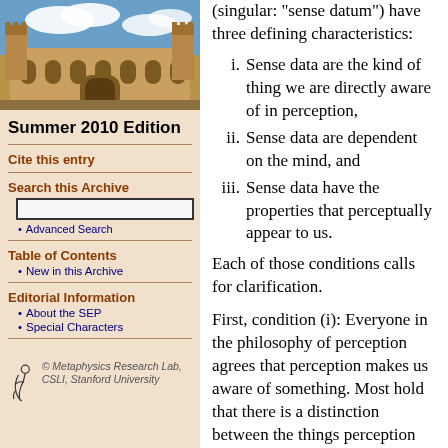[Figure (photo): Photo of a historic university building (sandstone Gothic style) with blue sky and clouds]
Summer 2010 Edition
Cite this entry
Search this Archive
Advanced Search
Table of Contents
New in this Archive
Editorial Information
About the SEP
Special Characters
[Figure (logo): Metaphysics Research Lab, CSLI, Stanford University logo]
(singular: "sense datum") have three defining characteristics:
i. Sense data are the kind of thing we are directly aware of in perception,
ii. Sense data are dependent on the mind, and
iii. Sense data have the properties that perceptually appear to us.
Each of those conditions calls for clarification.
First, condition (i): Everyone in the philosophy of perception agrees that perception makes us aware of something. Most hold that there is a distinction between the things perception